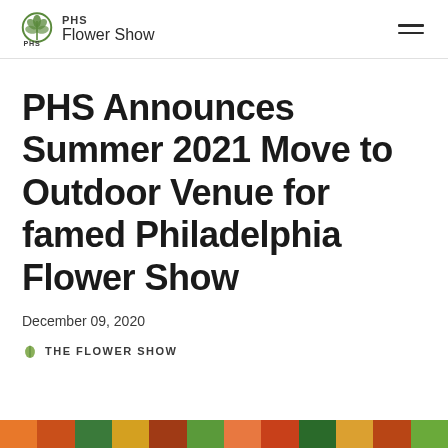PHS Flower Show
PHS Announces Summer 2021 Move to Outdoor Venue for famed Philadelphia Flower Show
December 09, 2020
THE FLOWER SHOW
[Figure (photo): Colorful floral banner strip at the bottom of the page]